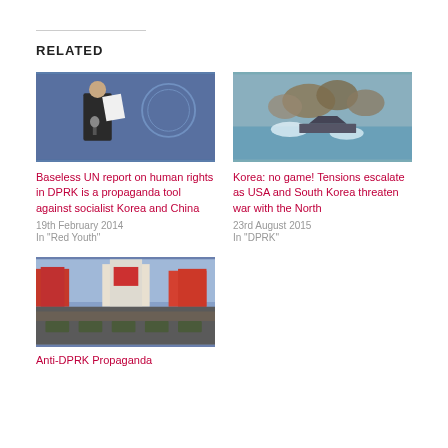RELATED
[Figure (photo): Man in suit holding papers at UN podium with UN emblem in background]
Baseless UN report on human rights in DPRK is a propaganda tool against socialist Korea and China
19th February 2014
In "Red Youth"
[Figure (photo): Military vessels firing at sea with smoke and water splashes]
Korea: no game! Tensions escalate as USA and South Korea threaten war with the North
23rd August 2015
In "DPRK"
[Figure (photo): Large military parade in North Korea with crowds and tanks in city square]
Anti-DPRK Propaganda